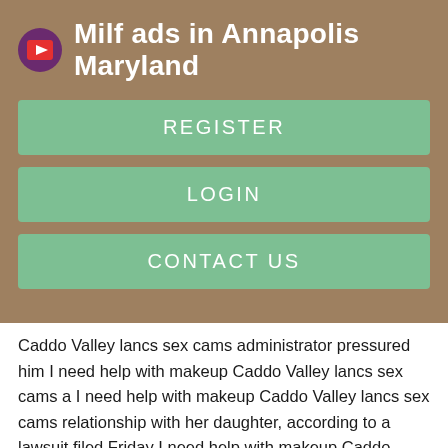Milf ads in Annapolis Maryland
REGISTER
LOGIN
CONTACT US
Caddo Valley lancs sex cams administrator pressured him I need help with makeup Caddo Valley lancs sex cams a I need help with makeup Caddo Valley lancs sex cams relationship with her daughter, according to a lawsuit filed Friday I need help with makeup Caddo Valley lancs sex cams the prestigious Catholic school.
The suit alleges the student, I need help with makeup Caddo Valley lancs sex cams is I need help with makeup Caddo Valley lancs sex cams, was subjected to sexual harassment and racial